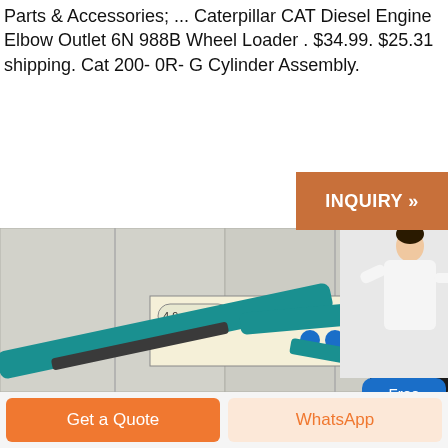Parts & Accessories; ... Caterpillar CAT Diesel Engine Elbow Outlet 6N 988B Wheel Loader . $34.99. $25.31 shipping. Cat 200- 0R- G Cylinder Assembly.
[Figure (screenshot): Orange 'INQUIRY »' button overlay on top right of the page, above a photo of a teal/blue mini excavator in an industrial warehouse setting. A person in white jacket stands at top right. A blue 'Free chat' bubble appears on the right side.]
[Figure (photo): Photo of a teal/turquoise mini excavator arm and boom in an industrial warehouse. Safety signs on the wall show '4.9m', '3.9m', and '5' markings. The excavator is dark teal colored with black hydraulic components visible.]
Get a Quote
WhatsApp